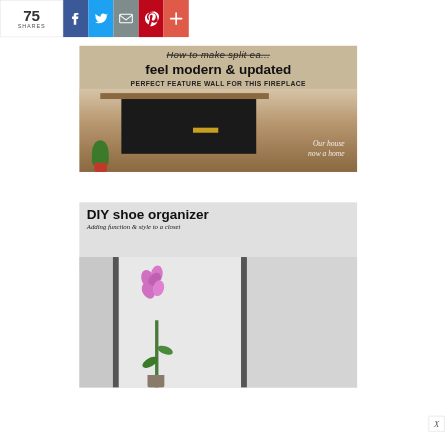75 SHARES
[Figure (screenshot): Social share bar with Facebook, Twitter, Email, Pinterest, and More buttons showing 75 shares]
[Figure (photo): Blog image titled 'feel modern & updated' with subtitle 'PERFECT FEATURE WALL FOR THIS FIREPLACE' showing a fireplace scene with watermark 'Our house now a home']
[Figure (photo): Blog image titled 'DIY shoe organizer' with subtitle 'Adding function & style to a closet' showing a closet scene with pink orchid flower]